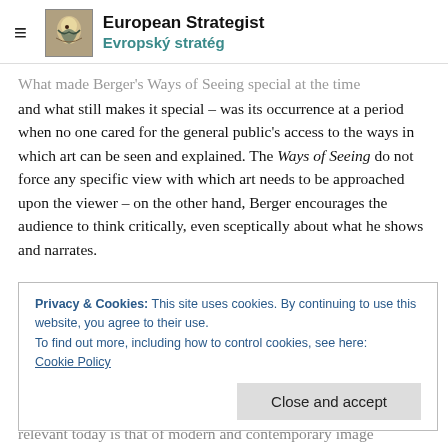European Strategist / Evropský stratég
What made Berger's Ways of Seeing special at the time and what still makes it special – was its occurrence at a period when no one cared for the general public's access to the ways in which art can be seen and explained. The Ways of Seeing do not force any specific view with which art needs to be approached upon the viewer – on the other hand, Berger encourages the audience to think critically, even sceptically about what he shows and narrates.
In the four half an hour episodes, we travel through galleries, images and art concepts learning about the
Privacy & Cookies: This site uses cookies. By continuing to use this website, you agree to their use.
To find out more, including how to control cookies, see here:
Cookie Policy

Close and accept
relevant today is that of modern and contemporary image